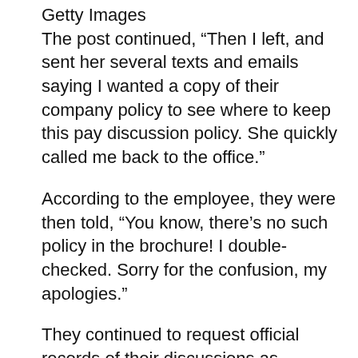Getty Images
The post continued, “Then I left, and sent her several texts and emails saying I wanted a copy of their company policy to see where to keep this pay discussion policy. She quickly called me back to the office.”
According to the employee, they were then told, “You know, there’s no such policy in the brochure! I double-checked. Sorry for the confusion, my apologies.”
They continued to request official records of their discussions as “protection from retaliation.”
They concluded, “I have just received a piece of…”